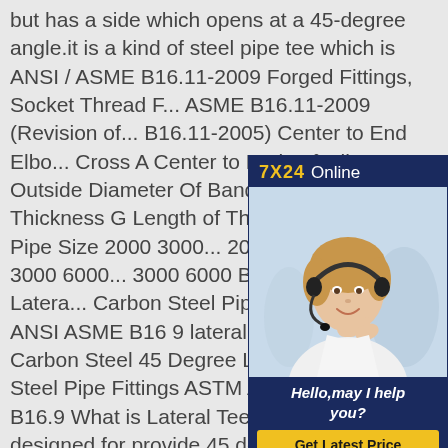but has a side which opens at a 45-degree angle.it is a kind of steel pipe tee which is ANSI / ASME B16.11-2009 Forged Fittings, Socket Thread F... ASME B16.11-2009 (Revision of... B16.11-2005) Center to End Elbo... Cross A Center to End 45° Elbow Outside Diameter Of Band H Min... Wall Thickness G Length of Threa... (1) DN Nom. Pipe Size 2000 3000... 2000 3000 6000 2000 3000 6000... 3000 6000 B L245 Degree Latera... Carbon Steel Pipe Fittings ASTM ... ANSI ASME B16 9 lateral tee 45 degree Carbon Steel 45 Degree Lateral Tee Carbon Steel Pipe Fittings ASTM A234 WPB ASME B16.9 What is Lateral Tee? Lateral tee is designed for provide 45 degree or other degrees branches for the
[Figure (photo): Customer service advertisement box with dark navy background. Top bar shows '7X24 Online' in gold and white text. Center shows a photo of a smiling woman wearing a headset. Bottom section shows 'Hello, may I help you?' in white italic text and a gold 'Get Latest Price' button.]